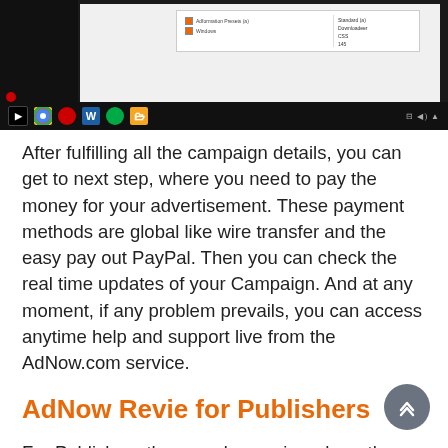[Figure (screenshot): Screenshot of a web interface with dark taskbar at bottom showing browser and app icons, and a form/UI panel visible in the upper portion with checkboxes and options.]
After fulfilling all the campaign details, you can get to next step, where you need to pay the money for your advertisement. These payment methods are global like wire transfer and the easy pay out PayPal. Then you can check the real time updates of your Campaign. And at any moment, if any problem prevails, you can access anytime help and support live from the AdNow.com service.
AdNow Revie for Publishers
For Publishers they need a service where they can monetize their website easily. Publishers can get an easy access to this service by clicking on